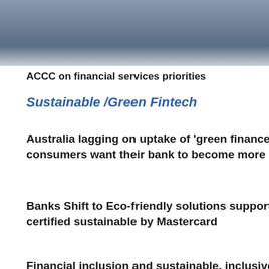ACCC on financial services priorities
Sustainable /Green Fintech
Australia lagging on uptake of 'green finance' solutions, however consumers want their bank to become more sustainable
Banks Shift to Eco-friendly solutions supported by innovative certified sustainable by Mastercard
Financial inclusion and sustainable, inclusive growth in action
[Figure (other): Blue rectangle/box at the bottom of the page]